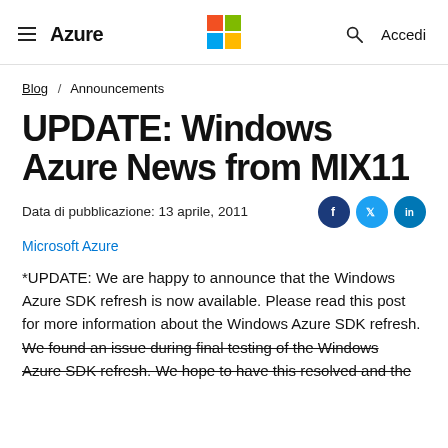Azure | Microsoft Logo | Accedi
Blog / Announcements
UPDATE: Windows Azure News from MIX11
Data di pubblicazione: 13 aprile, 2011
Microsoft Azure
*UPDATE: We are happy to announce that the Windows Azure SDK refresh is now available. Please read this post for more information about the Windows Azure SDK refresh. We found an issue during final testing of the Windows Azure SDK refresh. We hope to have this resolved and the